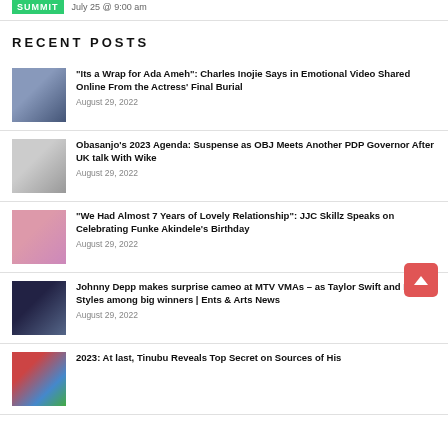SUMMIT  July 25 @ 9:00 am
RECENT POSTS
“Its a Wrap for Ada Ameh”: Charles Inojie Says in Emotional Video Shared Online From the Actress’ Final Burial
August 29, 2022
Obasanjo’s 2023 Agenda: Suspense as OBJ Meets Another PDP Governor After UK talk With Wike
August 29, 2022
“We Had Almost 7 Years of Lovely Relationship”: JJC Skillz Speaks on Celebrating Funke Akindele’s Birthday
August 29, 2022
Johnny Depp makes surprise cameo at MTV VMAs – as Taylor Swift and Harry Styles among big winners | Ents & Arts News
August 29, 2022
2023: At last, Tinubu Reveals Top Secret on Sources of His